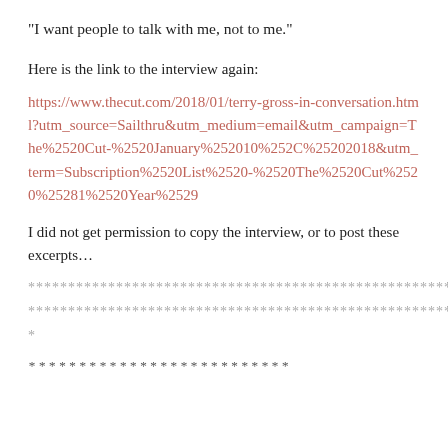“I want people to talk with me, not to me.”
Here is the link to the interview again:
https://www.thecut.com/2018/01/terry-gross-in-conversation.html?utm_source=Sailthru&utm_medium=email&utm_campaign=The%2520Cut-%2520January%252010%252C%25202018&utm_term=Subscription%2520List%2520-%2520The%2520Cut%2520%25281%2520Year%2529
I did not get permission to copy the interview, or to post these excerpts…
********************************************************
********************************************************
*
* * * * * * * * * *  [text continues]